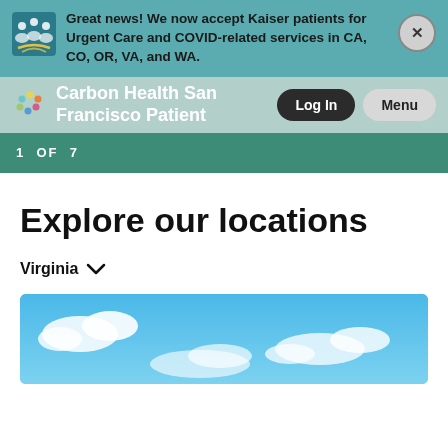Great news! We now accept Kaiser patients for Urgent Care and COVID-related services in CA, CO, OR, VA, and WA.
Carbon Health San Francisco Patient
1 OF 7
Explore our locations
Virginia
[Figure (photo): Blue sky with white clouds photo at the bottom of the page]